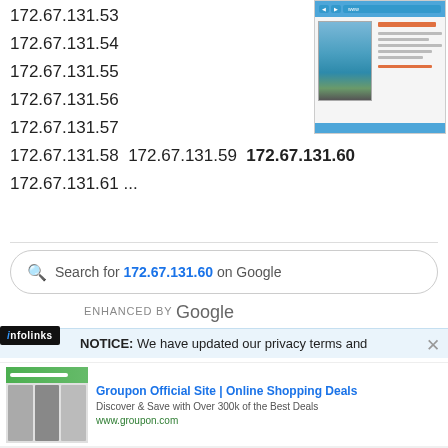172.67.131.53
172.67.131.54
172.67.131.55
172.67.131.56
172.67.131.57
172.67.131.58 172.67.131.59 172.67.131.60
172.67.131.61 ...
[Figure (screenshot): Screenshot of a webpage showing a travel-related website with a mountain lake image]
Search for 172.67.131.60 on Google
ENHANCED BY Google
NOTICE: We have updated our privacy terms and
infolinks
Groupon Official Site | Online Shopping Deals
Discover & Save with Over 300k of the Best Deals
www.groupon.com